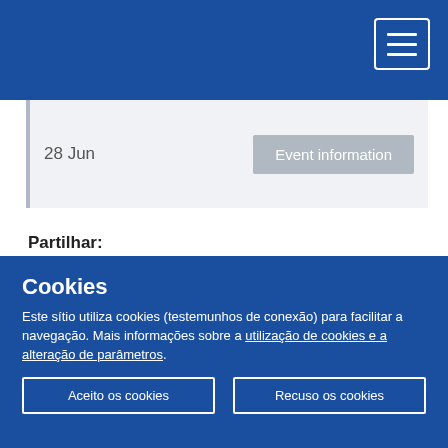Navigation header with hamburger menu
| Date | Action |
| --- | --- |
| 28 Jun | Event information |
Partilhar:
[Figure (other): Loading spinner animation]
Cookies
Este sítio utiliza cookies (testemunhos de conexão) para facilitar a navegação. Mais informações sobre a utilização de cookies e a alteração de parâmetros.
Aceito os cookies
Recuso os cookies